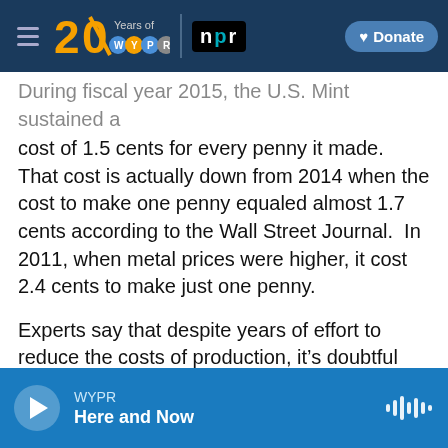WYPR 20 Years of WYPR | npr | Donate
During fiscal year 2015, the U.S. Mint sustained a cost of 1.5 cents for every penny it made.  That cost is actually down from 2014 when the cost to make one penny equaled almost 1.7 cents according to the Wall Street Journal.  In 2011, when metal prices were higher, it cost 2.4 cents to make just one penny.
Experts say that despite years of effort to reduce the costs of production, it's doubtful that the copper-coated coin will ever sink below the expense of making it. One obvious solution is to simply stop producing the penny, but Congress
WYPR | Here and Now